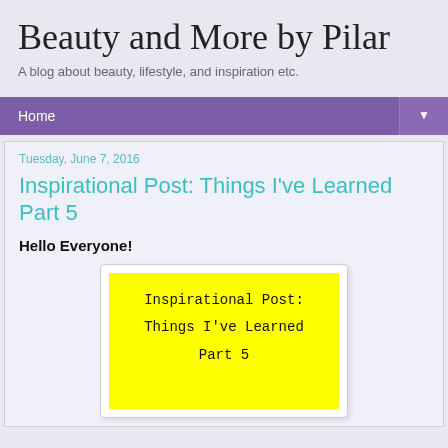Beauty and More by Pilar
A blog about beauty, lifestyle, and inspiration etc.
Home ▼
Tuesday, June 7, 2016
Inspirational Post: Things I've Learned Part 5
Hello Everyone!
[Figure (illustration): Yellow card image with text reading: Inspirational Post: / Things I've Learned / Part 5, displayed on a yellow background inside a white-bordered card]